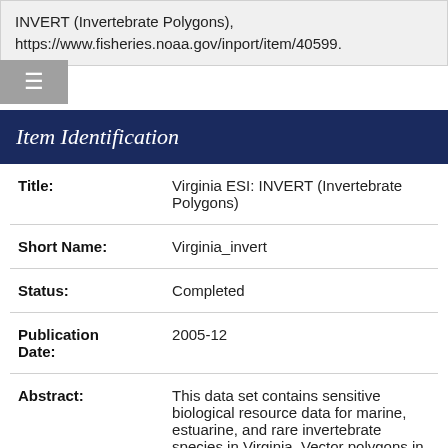INVERT (Invertebrate Polygons), https://www.fisheries.noaa.gov/inport/item/40599.
Item Identification
| Field | Value |
| --- | --- |
| Title: | Virginia ESI: INVERT (Invertebrate Polygons) |
| Short Name: | Virginia_invert |
| Status: | Completed |
| Publication Date: | 2005-12 |
| Abstract: | This data set contains sensitive biological resource data for marine, estuarine, and rare invertebrate species in Virginia. Vector polygons in this data set |